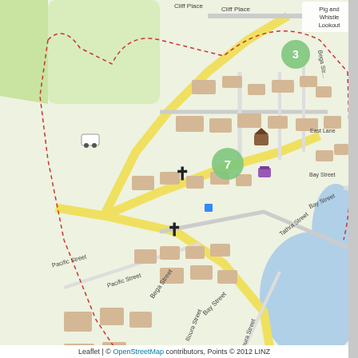[Figure (map): OpenStreetMap of Tathra, NSW, Australia showing streets including Bega Street, Bay Street, Pacific Street, Tathra Street, East Lane, Cliff Place, Illoura Street, Yuppara Street, Dhurga Lane, Panamuna Road. Features green cluster markers numbered 3 and 7, cross/church symbols, blue square markers, a brown building icon, a purple shop icon, green park areas, water body (Bega Valley / Tathra), and a label for Pig and Whistle Lookout in the top right. A dashed red boundary line is visible. Map credit: Leaflet | OpenStreetMap contributors, Points 2012 LINZ.]
Leaflet | © OpenStreetMap contributors, Points © 2012 LINZ